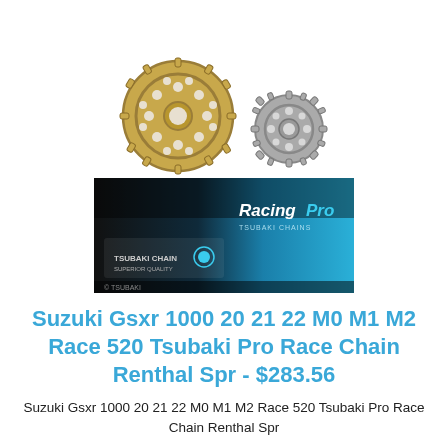[Figure (photo): Two sprocket gears — a large gold/brass rear sprocket on the left and a smaller silver front sprocket on the right, against a white background]
[Figure (photo): Racing Pro Tsubaki chain box packaging — dark background with teal/blue accent and 'Racing Pro' branding text]
Suzuki Gsxr 1000 20 21 22 M0 M1 M2 Race 520 Tsubaki Pro Race Chain Renthal Spr - $283.56
Suzuki Gsxr 1000 20 21 22 M0 M1 M2 Race 520 Tsubaki Pro Race Chain Renthal Spr